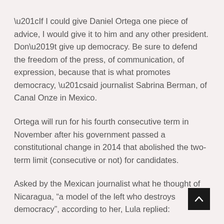“If I could give Daniel Ortega one piece of advice, I would give it to him and any other president. Don’t give up democracy. Be sure to defend the freedom of the press, of communication, of expression, because that is what promotes democracy, “said journalist Sabrina Berman, of Canal Onze in Mexico.
Ortega will run for his fourth consecutive term in November after his government passed a constitutional change in 2014 that abolished the two-term limit (consecutive or not) for candidates.
Asked by the Mexican journalist what he thought of Nicaragua, “a model of the left who destroys democracy”, according to her, Lula replied: